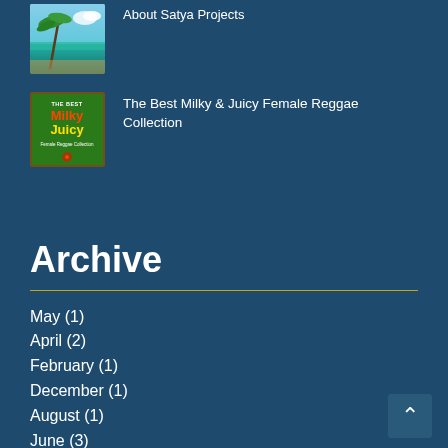[Figure (photo): Tropical beach scene with palm tree and turquoise water]
About Satya Projects
[Figure (photo): Album cover for The Best Milky & Juicy Female Reggae Collection]
The Best Milky & Juicy Female Reggae Collection
Archive
May (1)
April (2)
February (1)
December (1)
August (1)
June (3)
May (2)